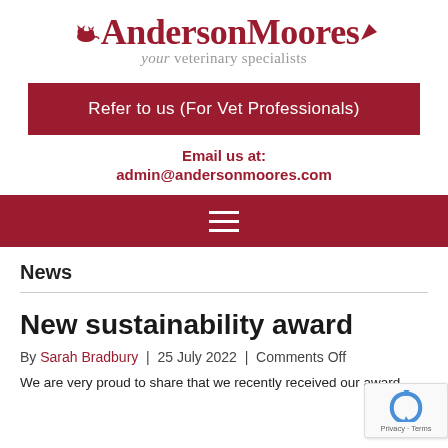[Figure (logo): Anderson Moores veterinary specialists logo with red text and cat silhouette, subtitle 'your veterinary specialists']
Refer to us (For Vet Professionals)
Email us at:
admin@andersonmoores.com
[Figure (other): Dark red navigation bar with hamburger menu icon (three white horizontal lines)]
News
New sustainability award
By Sarah Bradbury | 25 July 2022 | Comments Off
We are very proud to share that we recently received our award